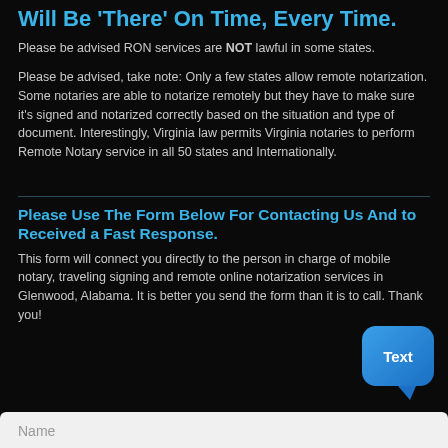Will Be There On Time, Every Time.
Please be advised RON services are NOT lawful in some states.
Please be advised, take note: Only a few states allow remote notarization. Some notaries are able to notarize remotely but they have to make sure it's signed and notarized correctly based on the situation and type of document. Interestingly, Virginia law permits Virginia notaries to perform Remote Notary service in all 50 states and Internationally.
Please Use The Form Below For Contacting Us And to Received a Fast Response.
This form will connect you directly to the person in charge of mobile notary, traveling signing and remote online notarization services in Glenwood, Alabama. It is better you send the form than it is to call. Thank you!